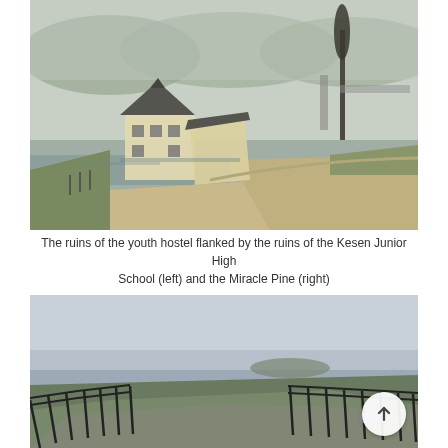[Figure (photo): Ruins of a youth hostel building tilted and damaged, flanked by the ruins of the Kesen Junior High School on the left and the Miracle Pine tree on the right. The scene shows a waterlogged landscape with mountains in the foggy background.]
The ruins of the youth hostel flanked by the ruins of the Kesen Junior High School (left) and the Miracle Pine (right)
[Figure (photo): A wide pathway or seawall with metal railings along both sides, curving toward the ocean. Green grassy areas and the sea are visible in the misty background. A scroll-to-top button is overlaid in the lower right.]